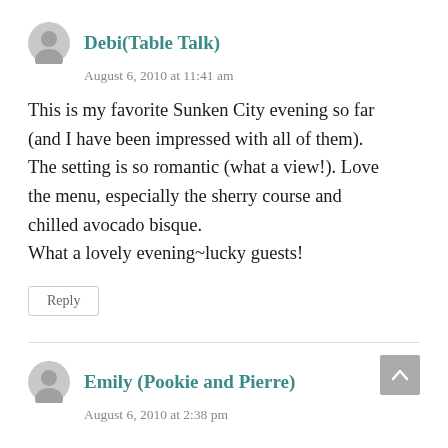Debi(Table Talk)
August 6, 2010 at 11:41 am
This is my favorite Sunken City evening so far (and I have been impressed with all of them). The setting is so romantic (what a view!). Love the menu, especially the sherry course and chilled avocado bisque.
What a lovely evening~lucky guests!
Reply
Emily (Pookie and Pierre)
August 6, 2010 at 2:38 pm